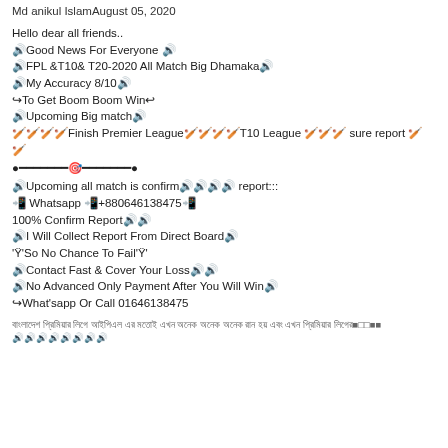Md anikul IslamAugust 05, 2020
Hello dear all friends..
🔊Good News For Everyone 🔊
🔊FPL &T10& T20-2020 All Match Big Dhamaka🔊
🔊My Accuracy 8/10🔊
↪To Get Boom Boom Win↩
🔊Upcoming Big match🔊
🏏🏏🏏🏏Finish Premier League🏏🏏🏏🏏T10 League 🏏🏏🏏 sure report 🏏🏏
●━━━━━━━🎯━━━━━━━●
🔊Upcoming all match is confirm🔊🔊🔊🔊 report:::
📲 Whatsapp 📲+880646138475📲
100% Confirm Report🔊🔊
🔊I Will Collect Report From Direct Board🔊
'Ϋ'So No Chance To Fail'Ϋ'
🔊Contact Fast & Cover Your Loss🔊🔊
🔊No Advanced Only Payment After You Will Win🔊
↪What'sapp Or Call 01646138475
বাংলাদেশ প্রিমিয়ার লিগে আইপিএল এর মতোই এখন অনেক অনেক অনেক রান হয় এবং এখন প্রিমিয়ার লিগের■□□■■
🔊🔊🔊🔊🔊🔊🔊🔊